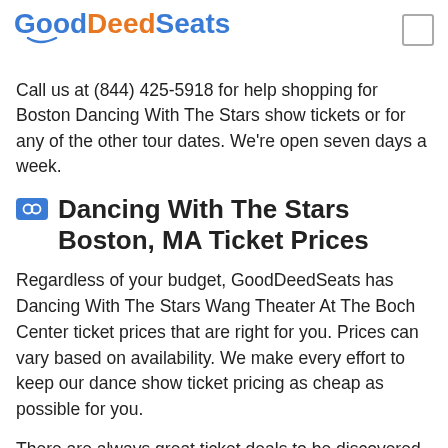GoodDeedSeats
Call us at (844) 425-5918 for help shopping for Boston Dancing With The Stars show tickets or for any of the other tour dates. We're open seven days a week.
Dancing With The Stars Boston, MA Ticket Prices
Regardless of your budget, GoodDeedSeats has Dancing With The Stars Wang Theater At The Boch Center ticket prices that are right for you. Prices can vary based on availability. We make every effort to keep our dance show ticket pricing as cheap as possible for you.
There are always great ticket deals to be discovered at GoodDeedSeats, including last minute theater tickets. The lowest price, or cheapest Dancing With The Stars Boston, Massachusetts ticket price, can be found by scrolling through our available listings. Prices...